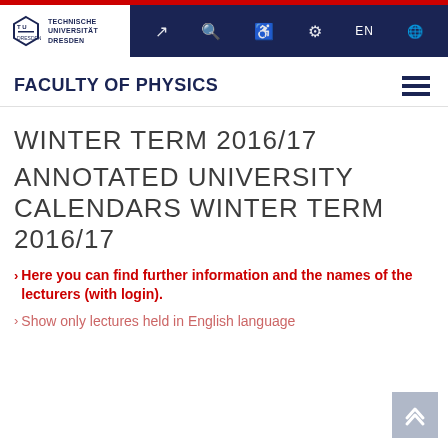[Figure (logo): Technische Universität Dresden logo with TU Dresden hexagonal icon and navigation bar with icons and EN language switcher]
FACULTY OF PHYSICS
WINTER TERM 2016/17
ANNOTATED UNIVERSITY CALENDARS WINTER TERM 2016/17
> Here you can find further information and the names of the lecturers (with login).
> Show only lectures held in English language